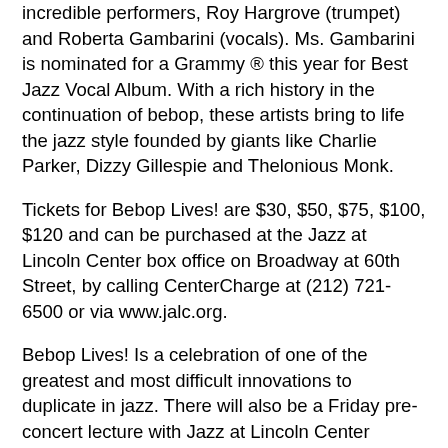incredible performers, Roy Hargrove (trumpet) and Roberta Gambarini (vocals). Ms. Gambarini is nominated for a Grammy ® this year for Best Jazz Vocal Album. With a rich history in the continuation of bebop, these artists bring to life the jazz style founded by giants like Charlie Parker, Dizzy Gillespie and Thelonious Monk.
Tickets for Bebop Lives! are $30, $50, $75, $100, $120 and can be purchased at the Jazz at Lincoln Center box office on Broadway at 60th Street, by calling CenterCharge at (212) 721-6500 or via www.jalc.org.
Bebop Lives! Is a celebration of one of the greatest and most difficult innovations to duplicate in jazz. There will also be a Friday pre-concert lecture with Jazz at Lincoln Center curator Phil Schaap introducing all ticket holders to the breadth of bebop and the impact this innovation had on the history of jazz.
Charles McPherson says, "I'm looking forward to doing the gig with James Moody because of his association with Dizzy's big band. Just playing with somebody who was